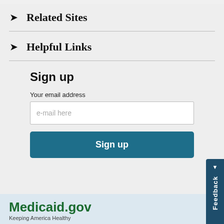Related Sites
Helpful Links
Sign up
Your email address
e-mail here
Sign up
Medicaid.gov
Keeping America Healthy